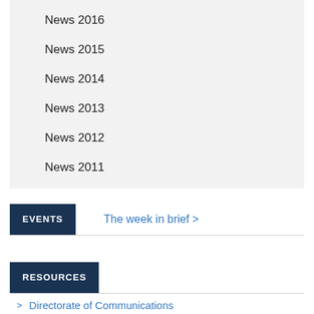News 2016
News 2015
News 2014
News 2013
News 2012
News 2011
EVENTS
The week in brief >
RESOURCES
Directorate of Communications
Events